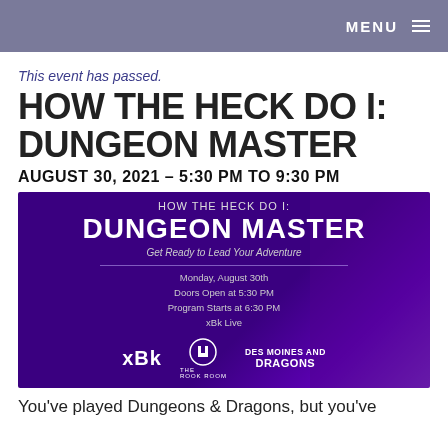MENU ≡
This event has passed.
HOW THE HECK DO I: DUNGEON MASTER
AUGUST 30, 2021 – 5:30 PM TO 9:30 PM
[Figure (illustration): Purple event flyer for 'How the Heck Do I: Dungeon Master' showing event title, tagline 'Get Ready to Lead Your Adventure', date Monday August 30th, Doors Open at 5:30 PM, Program Starts at 6:30 PM, xBk Live, with logos for xBk, The Rook Room, and Des Moines and Dragons]
You've played Dungeons & Dragons, but you've